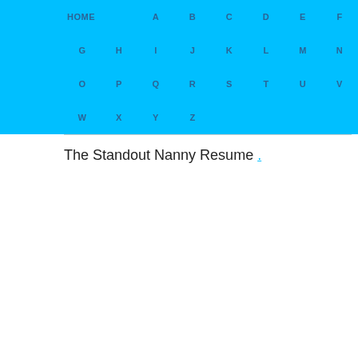HOME  A  B  C  D  E  F  G  H  I  J  K  L  M  N  O  P  Q  R  S  T  U  V  W  X  Y  Z
The Standout Nanny Resume .